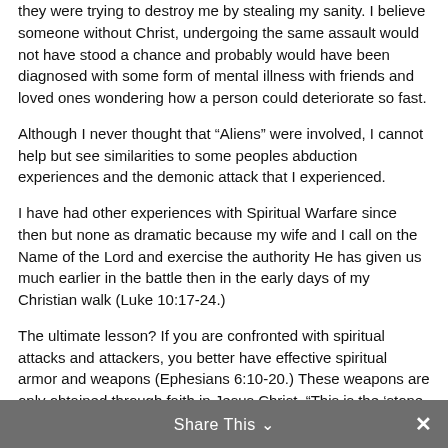they were trying to destroy me by stealing my sanity. I believe someone without Christ, undergoing the same assault would not have stood a chance and probably would have been diagnosed with some form of mental illness with friends and loved ones wondering how a person could deteriorate so fast.
Although I never thought that “Aliens” were involved, I cannot help but see similarities to some peoples abduction experiences and the demonic attack that I experienced.
I have had other experiences with Spiritual Warfare since then but none as dramatic because my wife and I call on the Name of the Lord and exercise the authority He has given us much earlier in the battle then in the early days of my Christian walk (Luke 10:17-24.)
The ultimate lesson? If you are confronted with spiritual attacks and attackers, you better have effective spiritual armor and weapons (Ephesians 6:10-20.) These weapons are only obtained through faith in Jesus Christ, “This is the ‘stone which was rejected by you builders, which has become the chief cornerstone.’ Nor is there salvation in any other, for there is no other name under heaven given among men by which we must be saved.” (Acts 4:11,12.)
Share This ⌄  ×